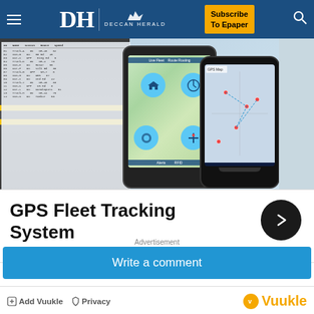DH DECCAN HERALD | Subscribe To Epaper
[Figure (screenshot): GPS Fleet Tracking System advertisement image showing smartphones with GPS map navigation app and a route map on a tablet/screen]
GPS Fleet Tracking System
mysearches.net
Advertisement
Write a comment
Add Vuukle  Privacy
Vuukle